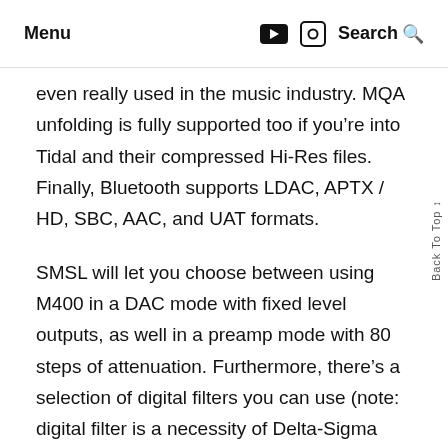Menu  Search
even really used in the music industry. MQA unfolding is fully supported too if you’re into Tidal and their compressed Hi-Res files. Finally, Bluetooth supports LDAC, APTX / HD, SBC, AAC, and UAT formats.
SMSL will let you choose between using M400 in a DAC mode with fixed level outputs, as well in a preamp mode with 80 steps of attenuation. Furthermore, there’s a selection of digital filters you can use (note: digital filter is a necessity of Delta-Sigma D/A